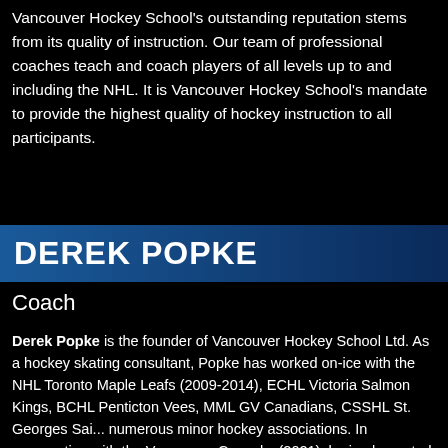Vancouver Hockey School's outstanding reputation stems from its quality of instruction. Our team of professional coaches teach and coach players of all levels up to and including the NHL. It is Vancouver Hockey School's mandate to provide the highest quality of hockey instruction to all participants.
DEREK POPKE
Coach
Derek Popke is the founder of Vancouver Hockey School Ltd. As a hockey skating consultant, Popke has worked on-ice with the NHL Toronto Maple Leafs (2009-2014), ECHL Victoria Salmon Kings, BCHL Penticton Vees, MML GV Canadians, CSSHL St. Georges Saints, numerous minor hockey associations. In cooperation with the Vancouver Canucks (2021), he implemented one of most successful NHL Pro Camps attracting top players from multiple organizations. In